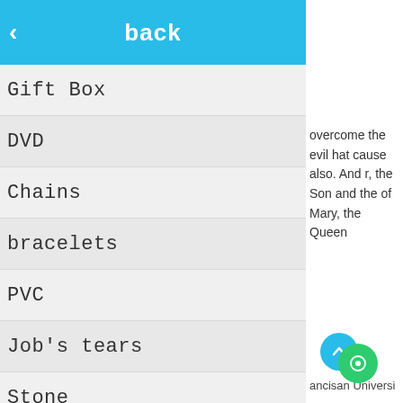[Figure (screenshot): Mobile app UI screenshot showing a blue header bar with back arrow and 'back' text, and a list of items below]
back
Gift Box
DVD
Chains
bracelets
PVC
Job's tears
Stone
Thorn tree
overcome the evil hat cause also. And r, the Son and the of Mary, the Queen
ancisan University